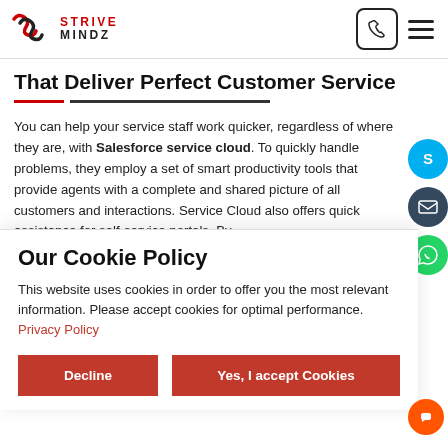Strive Mindz
That Deliver Perfect Customer Service
You can help your service staff work quicker, regardless of where they are, with Salesforce service cloud. To quickly handle problems, they employ a set of smart productivity tools that provide agents with a complete and shared picture of all customers and interactions. Service Cloud also offers quick assistance for self-service portals. By...
Our Cookie Policy
This website uses cookies in order to offer you the most relevant information. Please accept cookies for optimal performance. Privacy Policy
Decline | Yes, I accept Cookies